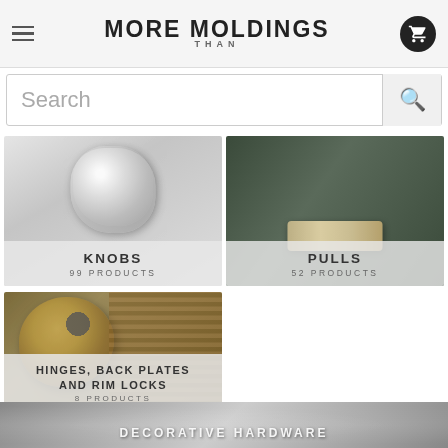More Than Moldings
Search
[Figure (photo): Category card: crystal knob product photo with label KNOBS – 99 PRODUCTS]
[Figure (photo): Category card: decorative pull hardware photo with label PULLS – 52 PRODUCTS]
[Figure (photo): Category card: brass hinges/back plates photo with label HINGES, BACK PLATES AND RIM LOCKS – 8 PRODUCTS]
[Figure (photo): Bottom strip: decorative hardware category preview with partial text DECORATIVE HARDWARE]